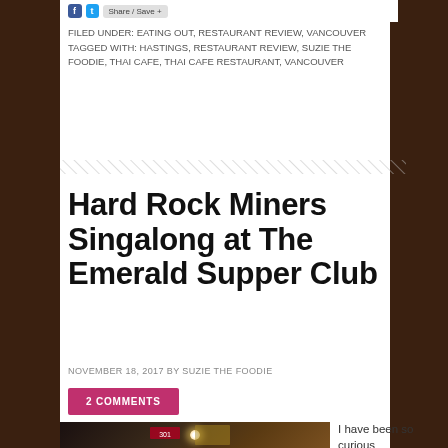FILED UNDER: EATING OUT, RESTAURANT REVIEW, VANCOUVER
TAGGED WITH: HASTINGS, RESTAURANT REVIEW, SUZIE THE FOODIE, THAI CAFE, THAI CAFE RESTAURANT, VANCOUVER
Hard Rock Miners Singalong at The Emerald Supper Club
NOVEMBER 18, 2017 BY SUZIE THE FOODIE
2 COMMENTS
[Figure (photo): Nighttime exterior photo of The Emerald Supper Club with glowing lights]
I have been so curious